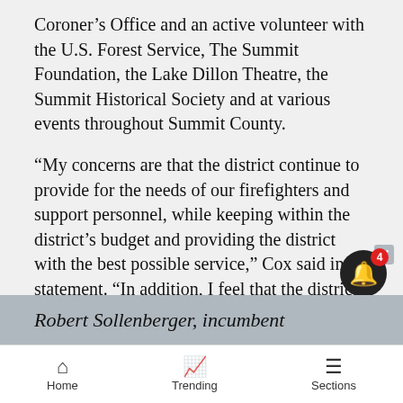Coroner’s Office and an active volunteer with the U.S. Forest Service, The Summit Foundation, the Lake Dillon Theatre, the Summit Historical Society and at various events throughout Summit County.
“My concerns are that the district continue to provide for the needs of our firefighters and support personnel, while keeping within the district’s budget and providing the district with the best possible service,” Cox said in a statement. “In addition, I feel that the district should continue to explore possible combinations or mergers with other districts or entities that would provide mutual benefit to the district while realizing costs savings and efficiencies without affecting service levels or personnel.”
Robert Sollenberger, incumbent
Home   Trending   Sections